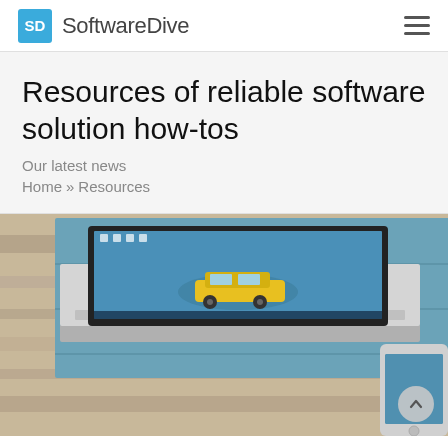SoftwareDive
Resources of reliable software solution how-tos
Our latest news
Home » Resources
[Figure (photo): Laptop on a wooden surface displaying a desktop with a yellow car wallpaper, with a tablet partially visible to the right. Background is a blue-painted wood wall.]